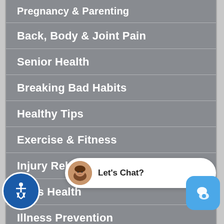Pregnancy & Parenting
Back, Body & Joint Pain
Senior Health
Breaking Bad Habits
Healthy Tips
Exercise & Fitness
Injury Rehab & Preve[ntion]
Kid's Health
Illness Prevention
[Figure (screenshot): Chat widget bubble with female avatar and 'Let's Chat?' text, plus blue chat button icon and accessibility icon at bottom corners]